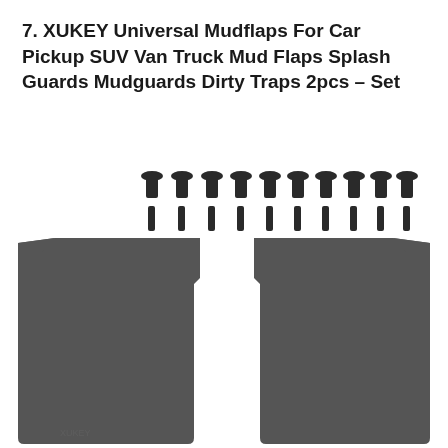7. XUKEY Universal Mudflaps For Car Pickup SUV Van Truck Mud Flaps Splash Guards Mudguards Dirty Traps 2pcs – Set
[Figure (photo): Product photo showing two dark grey/black rectangular mudflaps side by side, with a row of screws (flat-head screws on top, straight shafts below) displayed above them against a white background. The mudflaps have a notch cut into the top center area creating an indentation, and rounded bottom corners.]